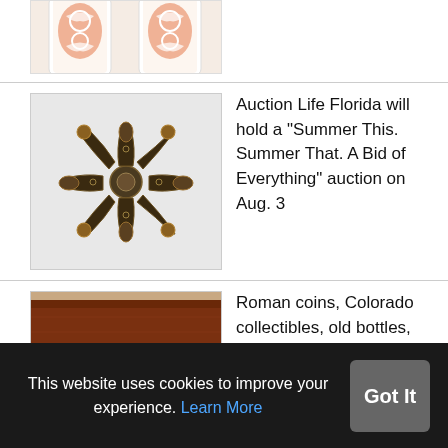[Figure (photo): Two decorative ceramic cups with orange and white floral pattern, partially cropped at top]
[Figure (photo): Ornate metallic jewelry piece with cross-like floral pattern in dark and gold tones]
Auction Life Florida will hold a “Summer This. Summer That. A Bid of Everything” auction on Aug. 3
[Figure (photo): Brown wooden box with decorative metal studs, partially cropped]
Roman coins, Colorado collectibles, old bottles, mining memorabilia at Holabird’s July
This website uses cookies to improve your experience. Learn More